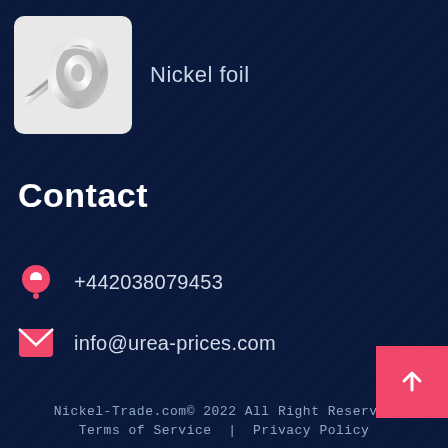[Figure (photo): Nickel foil product photo — rolled metallic foil sheet]
Nickel foil
Contact
+442038079453
info@urea-prices.com
Nickel-Trade.com© 2022 All Right Reserved   Terms of Service  |  Privacy Policy